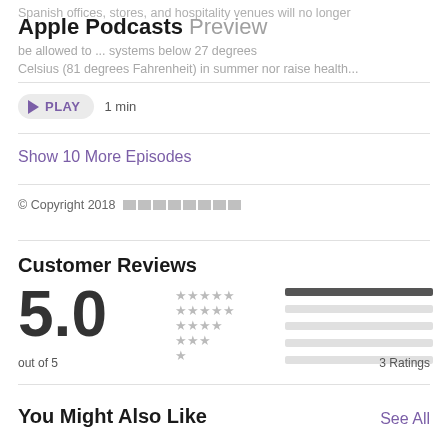Apple Podcasts Preview
Spanish offices, stores, and hospitality venues will no longer be allowed to ... systems below 27 degrees Celsius (81 degrees Fahrenheit) in summer nor raise health...
PLAY  1 min
Show 10 More Episodes
© Copyright 2018 [redacted]
Customer Reviews
5.0 out of 5   3 Ratings
You Might Also Like
See All